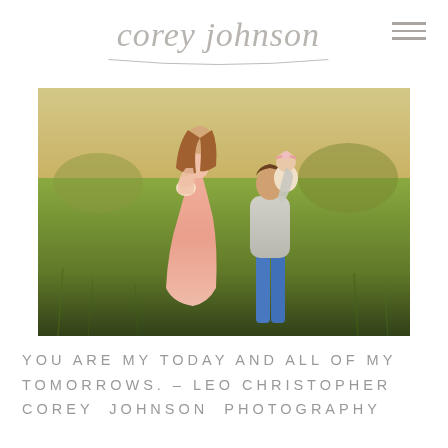corey johnson
[Figure (photo): Outdoor family photo in a grassy field. A woman in a long pink/blush dress holds a newborn baby, while a man in a grey sweater and jeans holds a toddler wearing a flower headband. Warm golden light suggests late afternoon.]
YOU ARE MY TODAY AND ALL OF MY TOMORROWS. – LEO CHRISTOPHER
COREY JOHNSON PHOTOGRAPHY